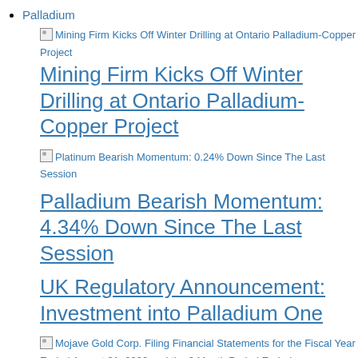Palladium
[Figure (other): Broken image thumbnail for Mining Firm Kicks Off Winter Drilling at Ontario Palladium-Copper Project]
Mining Firm Kicks Off Winter Drilling at Ontario Palladium-Copper Project
[Figure (other): Broken image thumbnail for Platinum Bearish Momentum: 0.24% Down Since The Last Session]
Palladium Bearish Momentum: 4.34% Down Since The Last Session
UK Regulatory Announcement: Investment into Palladium One
[Figure (other): Broken image thumbnail for Mojave Gold Corp. Filing Financial Statements for the Fiscal Year Ended August 31, 2020 and the 3 Month Period Ended]